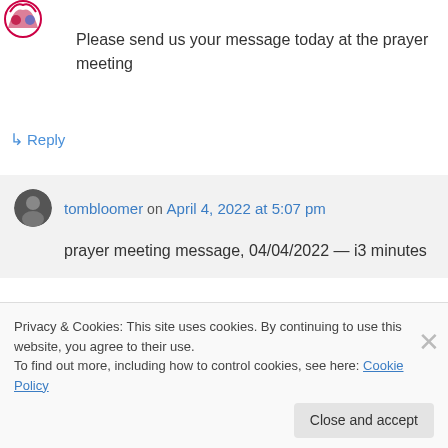Please send us your message today at the prayer meeting
↳ Reply
tombloomer on April 4, 2022 at 5:07 pm
prayer meeting message, 04/04/2022 — i3 minutes
Privacy & Cookies: This site uses cookies. By continuing to use this website, you agree to their use.
To find out more, including how to control cookies, see here: Cookie Policy
Close and accept